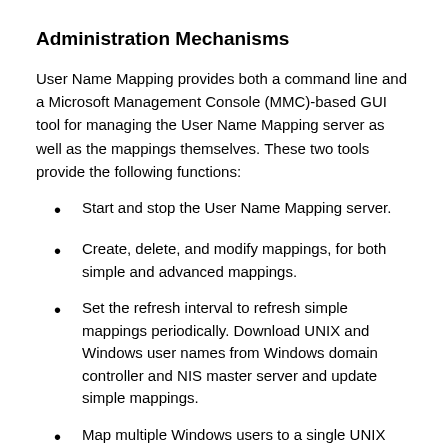Administration Mechanisms
User Name Mapping provides both a command line and a Microsoft Management Console (MMC)-based GUI tool for managing the User Name Mapping server as well as the mappings themselves. These two tools provide the following functions:
Start and stop the User Name Mapping server.
Create, delete, and modify mappings, for both simple and advanced mappings.
Set the refresh interval to refresh simple mappings periodically. Download UNIX and Windows user names from Windows domain controller and NIS master server and update simple mappings.
Map multiple Windows users to a single UNIX user.